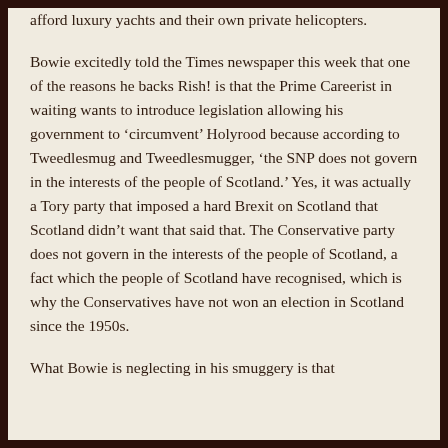afford luxury yachts and their own private helicopters.
Bowie excitedly told the Times newspaper this week that one of the reasons he backs Rish! is that the Prime Careerist in waiting wants to introduce legislation allowing his government to ‘circumvent’ Holyrood because according to Tweedlesmug and Tweedlesmugger, ‘the SNP does not govern in the interests of the people of Scotland.’ Yes, it was actually a Tory party that imposed a hard Brexit on Scotland that Scotland didn’t want that said that. The Conservative party does not govern in the interests of the people of Scotland, a fact which the people of Scotland have recognised, which is why the Conservatives have not won an election in Scotland since the 1950s.
What Bowie is neglecting in his smuggery is that